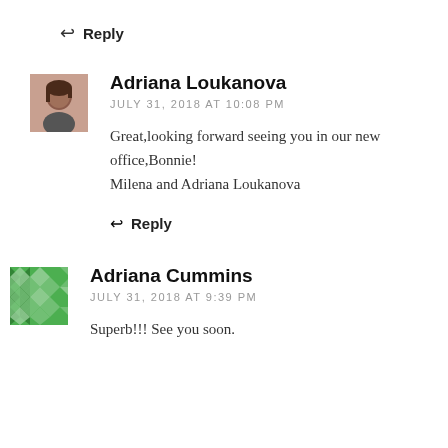↩ Reply
[Figure (photo): Small square avatar photo of Adriana Loukanova, a woman with dark hair]
Adriana Loukanova
JULY 31, 2018 AT 10:08 PM
Great,looking forward seeing you in our new office,Bonnie!
Milena and Adriana Loukanova
↩ Reply
[Figure (illustration): Green geometric diamond/square pattern avatar for Adriana Cummins]
Adriana Cummins
JULY 31, 2018 AT 9:39 PM
Superb!!! See you soon.